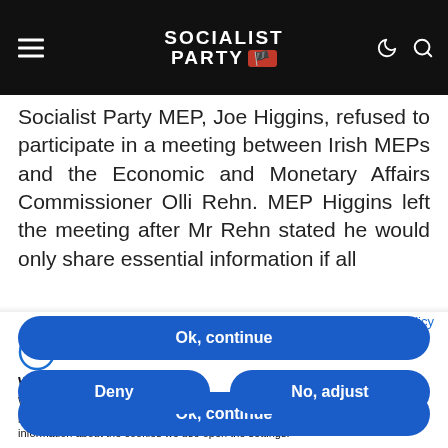SOCIALIST PARTY
Socialist Party MEP, Joe Higgins, refused to participate in a meeting between Irish MEPs and the Economic and Monetary Affairs Commissioner Olli Rehn. MEP Higgins left the meeting after Mr Rehn stated he would only share essential information if all
Privacy policy
We use cookies
We may place these for analysis of our visitor data, to improve our website, show personalised content and to give you a great website experience. For more information about the cookies we use open the settings.
Ok, continue
Deny
No, adjust